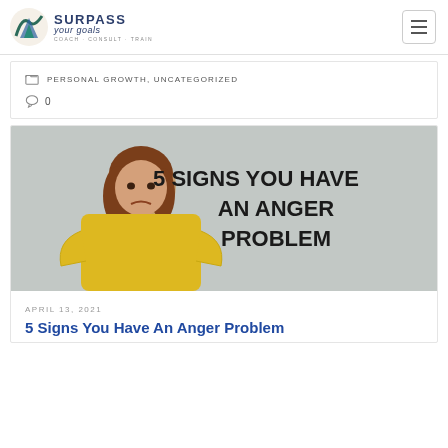SURPASS your goals · COACH · CONSULT · TRAIN
PERSONAL GROWTH, UNCATEGORIZED
0
[Figure (photo): Woman in yellow long-sleeve shirt with hands on hips, looking angry, against grey background. Text overlay reads: 5 SIGNS YOU HAVE AN ANGER PROBLEM]
APRIL 13, 2021
5 Signs You Have An Anger Problem